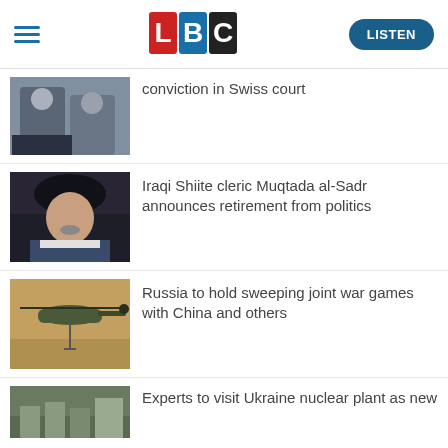LBC | LISTEN
conviction in Swiss court
Iraqi Shiite cleric Muqtada al-Sadr announces retirement from politics
Russia to hold sweeping joint war games with China and others
Experts to visit Ukraine nuclear plant as new...